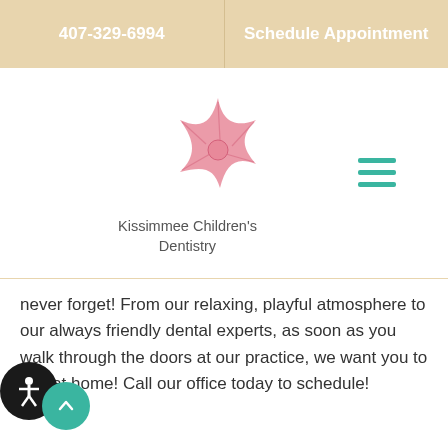407-329-6994   Schedule Appointment
[Figure (logo): Kissimmee Children's Dentistry logo with a pink starfish illustration above the text]
Kissimmee Children's Dentistry
never forget! From our relaxing, playful atmosphere to our always friendly dental experts, as soon as you walk through the doors at our practice, we want you to feel at home! Call our office today to schedule!